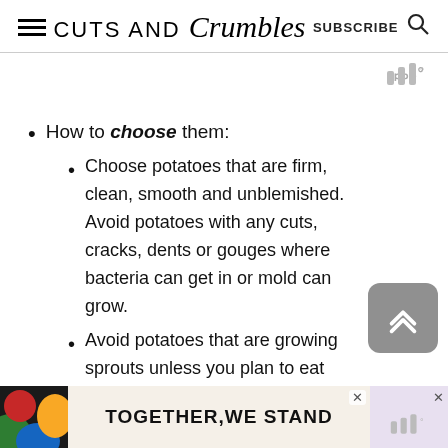CUTS AND Crumbles | SUBSCRIBE
How to choose them:
Choose potatoes that are firm, clean, smooth and unblemished. Avoid potatoes with any cuts, cracks, dents or gouges where bacteria can get in or mold can grow.
Avoid potatoes that are growing sprouts unless you plan to eat them within 1-2
[Figure (other): TOGETHER, WE STAND advertisement banner at the bottom of the page with colorful artwork]
[Figure (other): Scroll-to-top button with double chevron up arrow, gray rounded rectangle]